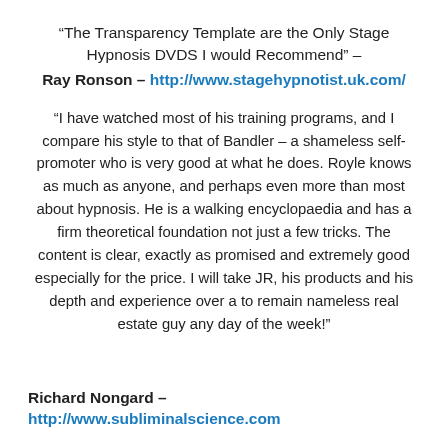“The Transparency Template are the Only Stage Hypnosis DVDS I would Recommend” –
Ray Ronson – http://www.stagehypnotist.uk.com/
“I have watched most of his training programs, and I compare his style to that of Bandler – a shameless self-promoter who is very good at what he does. Royle knows as much as anyone, and perhaps even more than most about hypnosis. He is a walking encyclopaedia and has a firm theoretical foundation not just a few tricks. The content is clear, exactly as promised and extremely good especially for the price. I will take JR, his products and his depth and experience over a to remain nameless real estate guy any day of the week!”
Richard Nongard – http://www.subliminalscience.com